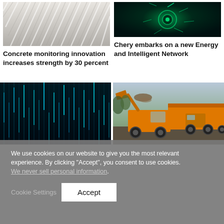[Figure (photo): Close-up of a white concrete or architectural structure with layered ridges]
Concrete monitoring innovation increases strength by 30 percent
[Figure (photo): Green glowing futuristic engine or motor component with energy sparks]
Chery embarks on a new Energy and Intelligent Network
[Figure (photo): Dark abstract background with vertical teal/blue glowing lines resembling data streams]
[Figure (photo): Orange wheeled loader/construction vehicle loading material into a dump truck on a construction site]
We use cookies on our website to give you the most relevant experience. By clicking “Accept”, you consent to use cookies. We never sell personal information.